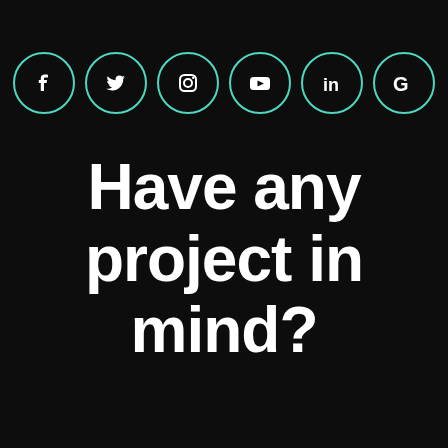[Figure (infographic): Six social media icons in teal-outlined circles: Facebook, Twitter, Instagram, YouTube, LinkedIn, Google]
Have any project in mind?